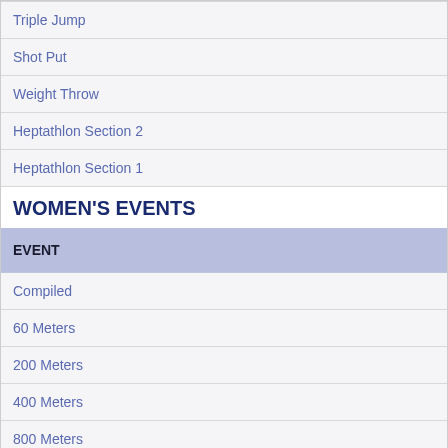| EVENT |
| --- |
| Triple Jump |
| Shot Put |
| Weight Throw |
| Heptathlon Section 2 |
| Heptathlon Section 1 |
WOMEN'S EVENTS
| EVENT |
| --- |
| Compiled |
| 60 Meters |
| 200 Meters |
| 400 Meters |
| 800 Meters |
| Mile |